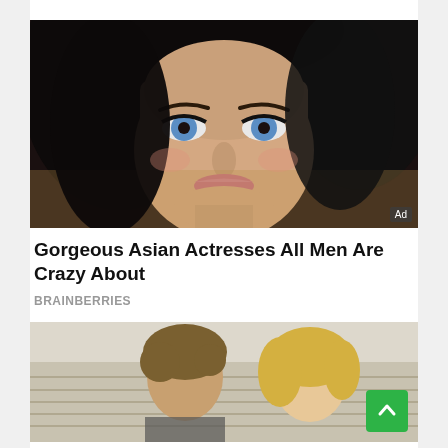[Figure (photo): Close-up portrait of an Asian woman with dark hair, blue eyes, and pink lips, wearing natural makeup against a blurred background.]
Gorgeous Asian Actresses All Men Are Crazy About
BRAINBERRIES
[Figure (photo): Two people (a man and a woman with blonde hair) photographed outdoors near bleachers or stadium seating.]